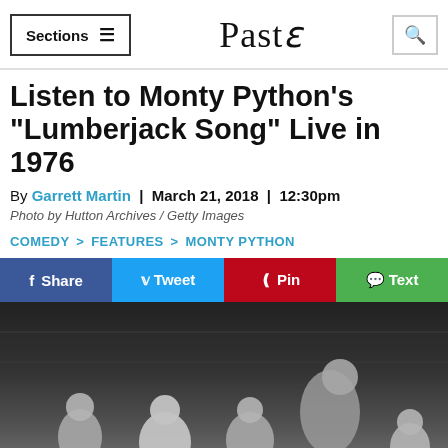Sections  ≡    Paste    🔍
Listen to Monty Python's "Lumberjack Song" Live in 1976
By Garrett Martin  |  March 21, 2018  |  12:30pm
Photo by Hutton Archives / Getty Images
COMEDY > FEATURES > MONTY PYTHON
Share  Tweet  Pin  Text
[Figure (photo): Black and white group photo of Monty Python members sitting together outdoors]